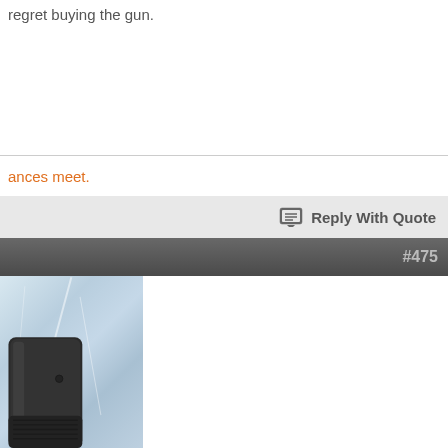regret buying the gun.
ances meet.
Reply With Quote
#475
[Figure (photo): Photo of a dark-colored gun part (appears to be a magazine or grip) placed on a white plastic bag background]